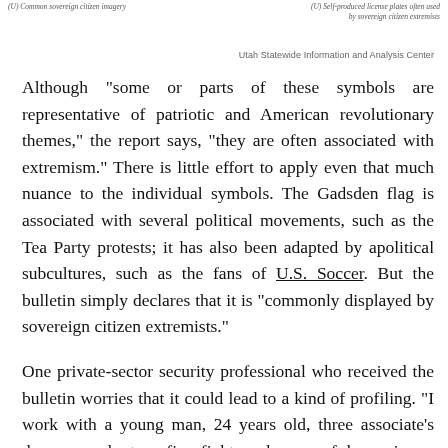(U) Common sovereign citizen imagery
(U) Self-produced license plates often used by sovereign citizen extremists
Utah Statewide Information and Analysis Center
Although "some or parts of these symbols are representative of patriotic and American revolutionary themes," the report says, "they are often associated with extremism." There is little effort to apply even that much nuance to the individual symbols. The Gadsden flag is associated with several political movements, such as the Tea Party protests; it has also been adapted by apolitical subcultures, such as the fans of U.S. Soccer. But the bulletin simply declares that it is "commonly displayed by sovereign citizen extremists."
One private-sector security professional who received the bulletin worries that it could lead to a kind of profiling. "I work with a young man, 24 years old, three associate's degrees, volunteer fire fighter, dreams of becoming a police officer," he says. "He's also an Armenian-Russian